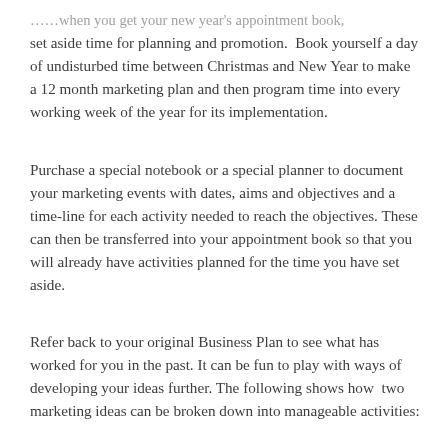…when you get your new year's appointment book, set aside time for planning and promotion.  Book yourself a day of undisturbed time between Christmas and New Year to make a 12 month marketing plan and then program time into every working week of the year for its implementation.
Purchase a special notebook or a special planner to document your marketing events with dates, aims and objectives and a time-line for each activity needed to reach the objectives. These can then be transferred into your appointment book so that you will already have activities planned for the time you have set aside.
Refer back to your original Business Plan to see what has worked for you in the past. It can be fun to play with ways of developing your ideas further. The following shows how  two marketing ideas can be broken down into manageable activities: